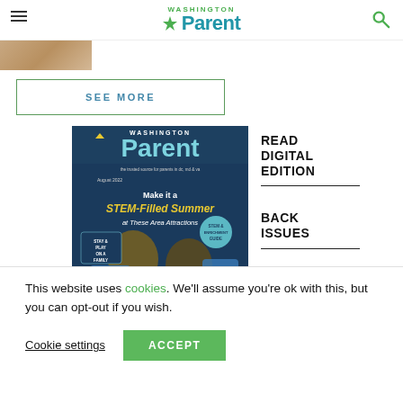Washington Parent
[Figure (photo): Partial image of a child or person visible at top left below header]
SEE MORE
[Figure (photo): Washington Parent magazine cover for August 2022 featuring two children with STEM activities and text 'Make it a STEM-Filled Summer at These Area Attractions']
READ DIGITAL EDITION
BACK ISSUES
CURRENT STORIES
This website uses cookies. We'll assume you're ok with this, but you can opt-out if you wish.
Cookie settings
ACCEPT